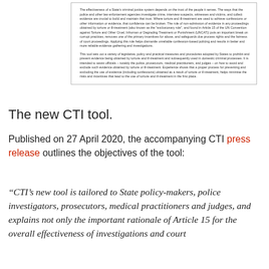[Figure (screenshot): Boxed excerpt from a document about the rule of non-admission of evidence obtained by torture, referencing Article 15 of UNCAT and the exclusionary rule.]
The new CTI tool.
Published on 27 April 2020, the accompanying CTI press release outlines the objectives of the tool:
“CTI’s new tool is tailored to State policy-makers, police investigators, prosecutors, medical practitioners and judges, and explains not only the important rationale of Article 15 for the overall effectiveness of investigations and court